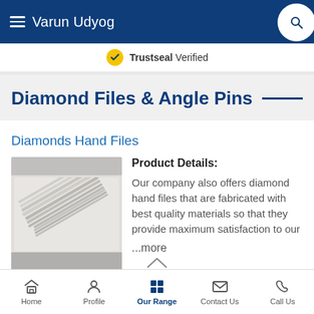Varun Udyog
Trustseal Verified
Diamond Files & Angle Pins
Diamonds Hand Files
[Figure (photo): Diamond hand files - multiple thin needle files bundled together shown diagonally]
Product Details: Our company also offers diamond hand files that are fabricated with best quality materials so that they provide maximum satisfaction to our ...more
Home  Profile  Our Range  Contact Us  Call Us